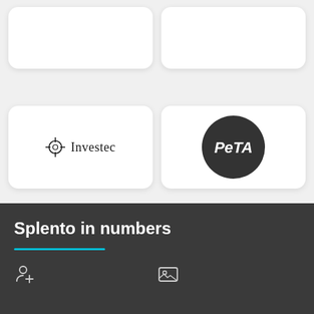[Figure (logo): Investec logo with crosshair symbol and serif text 'Investec']
[Figure (logo): PETA logo: black circle with white italic text 'PeTA']
Splento in numbers
[Figure (illustration): Person with plus icon (add user icon) in dark section]
[Figure (illustration): Image/photo icon in dark section]